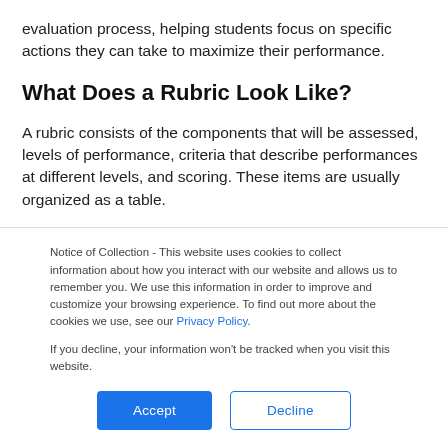evaluation process, helping students focus on specific actions they can take to maximize their performance.
What Does a Rubric Look Like?
A rubric consists of the components that will be assessed, levels of performance, criteria that describe performances at different levels, and scoring. These items are usually organized as a table.
Notice of Collection - This website uses cookies to collect information about how you interact with our website and allows us to remember you. We use this information in order to improve and customize your browsing experience. To find out more about the cookies we use, see our Privacy Policy.
If you decline, your information won’t be tracked when you visit this website.